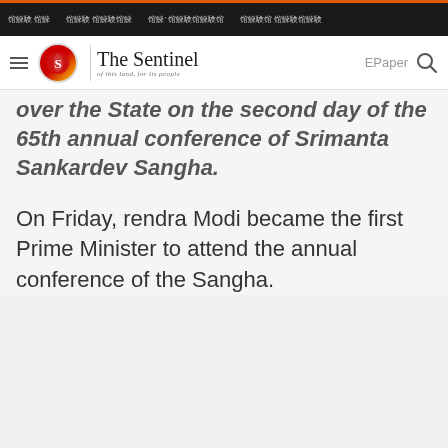[Assamese nav items] | The Sentinel - of this land, for its people | EPaper
over the State on the second day of the 65th annual conference of Srimanta Sankardev Sangha.
On Friday, rendra Modi became the first Prime Minister to attend the annual conference of the Sangha.